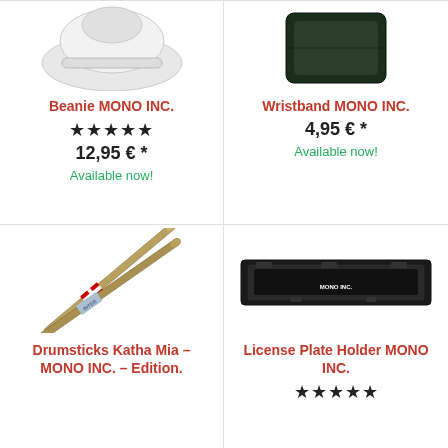[Figure (photo): Beanie MONO INC. product photo - white/light colored beanie hat, partially visible at top]
Beanie MONO INC.
★★★★★
12,95 € *
Available now!
[Figure (photo): Wristband MONO INC. product photo - dark green/black wristband, partially visible at top]
Wristband MONO INC.
4,95 € *
Available now!
[Figure (photo): Drumsticks Katha Mia - MONO INC. - Edition. Two metallic drumsticks with Swiss cross band label]
Drumsticks Katha Mia – MONO INC. – Edition.
[Figure (photo): License Plate Holder MONO INC. - black rectangular car license plate frame with MONO INC. text]
License Plate Holder MONO INC.
★★★★☆